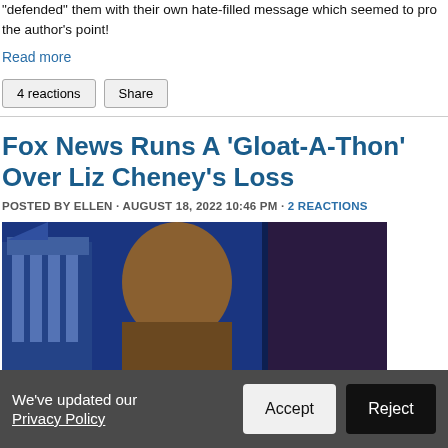"defended" them with their own hate-filled message which seemed to prove the author's point!
Read more
4 reactions   Share
Fox News Runs A ‘Gloat-A-Thon’ Over Liz Cheney’s Loss
POSTED BY ELLEN · AUGUST 18, 2022 10:46 PM · 2 REACTIONS
[Figure (photo): A TV news anchor or host visible from behind on a blue news set background with a building graphic visible on the left side]
We've updated our Privacy Policy  Accept  Reject